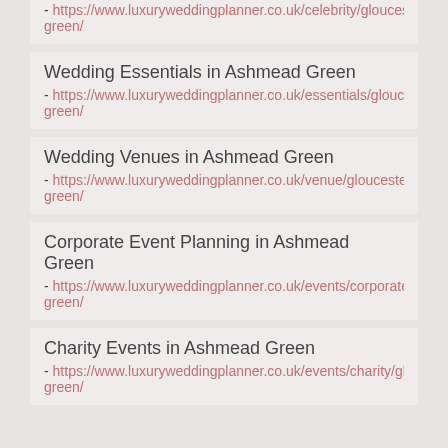- https://www.luxuryweddingplanner.co.uk/celebrity/gloucestershire/a...green/
Wedding Essentials in Ashmead Green - https://www.luxuryweddingplanner.co.uk/essentials/gloucestershire/...green/
Wedding Venues in Ashmead Green - https://www.luxuryweddingplanner.co.uk/venue/gloucestershire/ash...green/
Corporate Event Planning in Ashmead Green - https://www.luxuryweddingplanner.co.uk/events/corporate/gloucest...green/
Charity Events in Ashmead Green - https://www.luxuryweddingplanner.co.uk/events/charity/gloucesters...green/